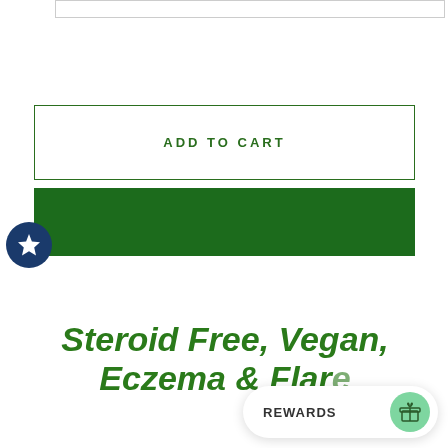[Figure (screenshot): Partial top white input/search box outline at top of page]
ADD TO CART
[Figure (other): Solid dark green rectangular button/banner]
[Figure (other): Dark navy circle badge with white star icon (rewards/favorites)]
Steroid Free, Vegan, Eczema & Flar…
[Figure (other): Rewards widget: white pill-shaped button with REWARDS label and green circle icon with gift/bag symbol]